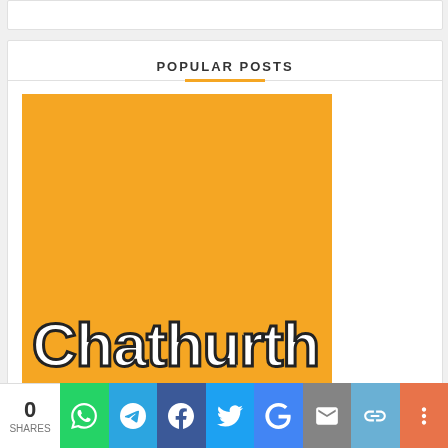POPULAR POSTS
[Figure (illustration): Yellow/golden square image with large white bold text 'Chathurth' with dark outline at the bottom]
0 SHARES
[Figure (infographic): Social sharing bar with buttons: WhatsApp (green), Telegram (blue), Facebook (dark blue), Twitter (light blue), Google (blue), Email (gray), Link (light blue), More (orange)]